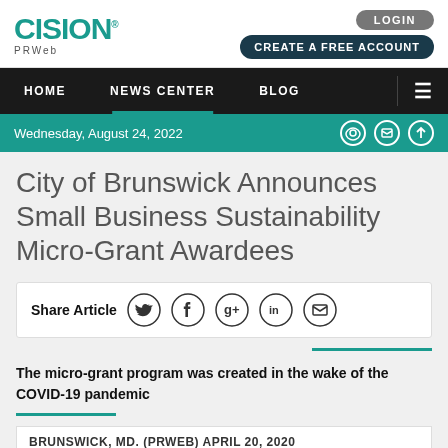[Figure (logo): Cision PRWeb logo in teal]
[Figure (screenshot): LOGIN and CREATE A FREE ACCOUNT buttons]
HOME | NEWS CENTER | BLOG
Wednesday, August 24, 2022
City of Brunswick Announces Small Business Sustainability Micro-Grant Awardees
Share Article
The micro-grant program was created in the wake of the COVID-19 pandemic
BRUNSWICK, MD. (PRWEB) APRIL 20, 2020